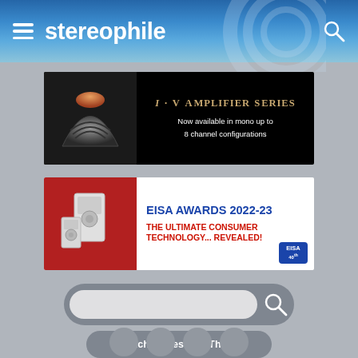stereophile
[Figure (photo): i·V Amplifier Series advertisement banner. Dark background with audio amplifier device image on left. Text reads: i·V AMPLIFIER SERIES - Now available in mono up to 8 channel configurations]
[Figure (photo): EISA Awards 2022-23 advertisement banner. Red background with speaker/audio equipment image on left. Text reads: EISA AWARDS 2022-23 - THE ULTIMATE CONSUMER TECHNOLOGY... REVEALED! with EISA 40th anniversary badge.]
[Figure (screenshot): Search bar with magnifying glass icon on grey rounded rectangle background]
Switch to Desktop Theme
[Figure (other): Row of social media circular icon buttons at bottom of page]